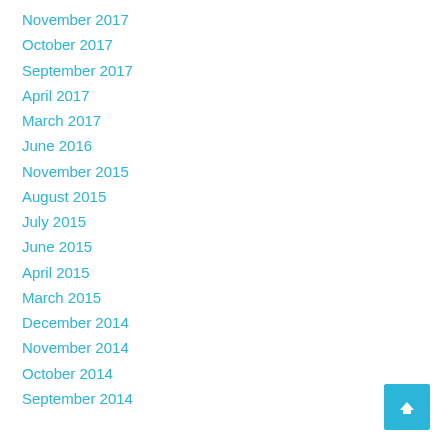November 2017
October 2017
September 2017
April 2017
March 2017
June 2016
November 2015
August 2015
July 2015
June 2015
April 2015
March 2015
December 2014
November 2014
October 2014
September 2014